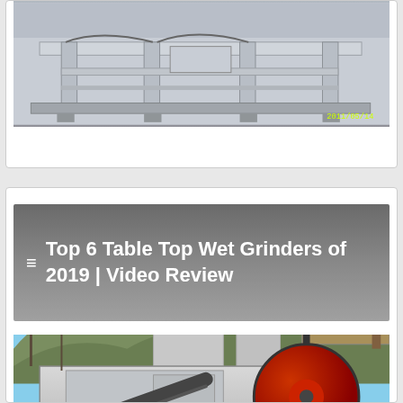[Figure (photo): Industrial machine (wet grinder/mill equipment) photographed indoors on a metal frame, timestamp 2011/05/14 in yellow text at bottom right]
≡ Top 6 Table Top Wet Grinders of 2019 | Video Review
[Figure (photo): Large industrial jaw crusher or mining equipment photographed outdoors against a blue sky with hills in background]